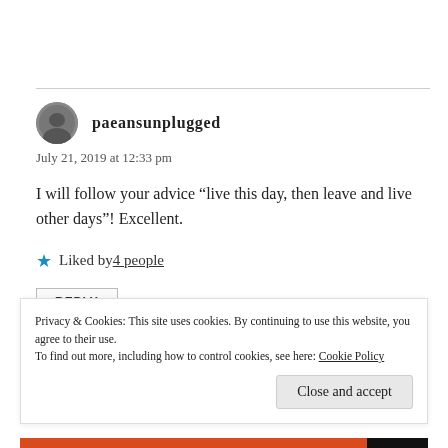paeansunplugged
July 21, 2019 at 12:33 pm
I will follow your advice “live this day, then leave and live other days”! Excellent.
★ Liked by 4 people
REPLY
Privacy & Cookies: This site uses cookies. By continuing to use this website, you agree to their use. To find out more, including how to control cookies, see here: Cookie Policy
Close and accept